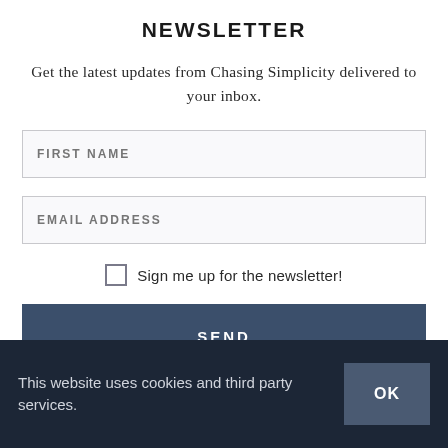NEWSLETTER
Get the latest updates from Chasing Simplicity delivered to your inbox.
[Figure (other): FIRST NAME text input field]
[Figure (other): EMAIL ADDRESS text input field]
Sign me up for the newsletter!
[Figure (other): SEND button — dark navy blue background with white uppercase text]
This website uses cookies and third party services.
[Figure (other): OK button — dark slate blue background with white text]